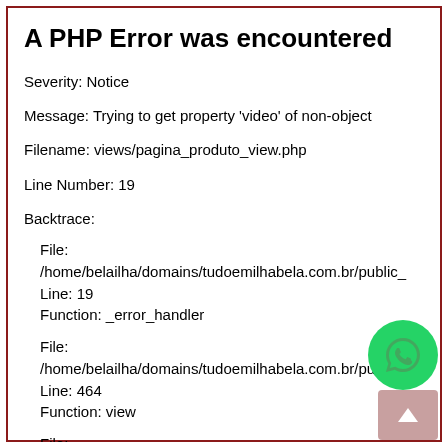A PHP Error was encountered
Severity: Notice
Message: Trying to get property 'video' of non-object
Filename: views/pagina_produto_view.php
Line Number: 19
Backtrace:
File: /home/belailha/domains/tudoemilhabela.com.br/public_
Line: 19
Function: _error_handler
File: /home/belailha/domains/tudoemilhabela.com.br/public_
Line: 464
Function: view
File: /home/belailha/domains/tudoemilhabela.com.br/public_